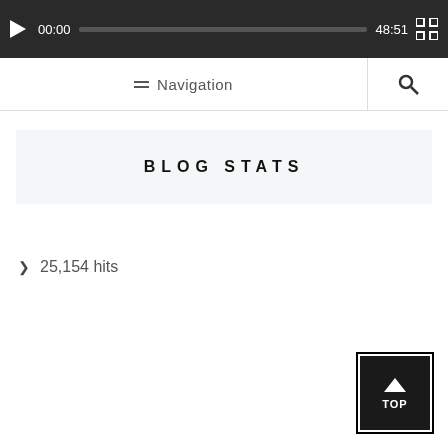[Figure (screenshot): Media player bar with play button, time 00:00, progress bar, total time 48:51, and fullscreen button on dark background]
Navigation
BLOG STATS
> 25,154 hits
[Figure (other): TOP button - dark square button with up arrow and TOP label]